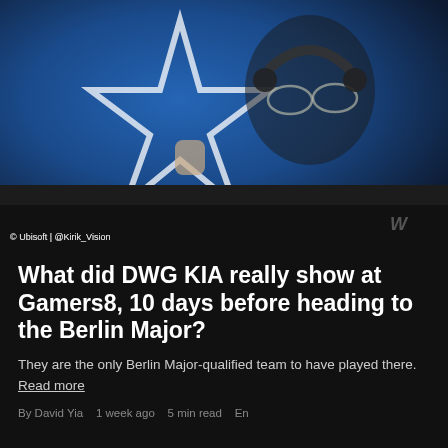[Figure (photo): Esports player with glasses and headset, raising fist in celebration at a gaming event. Blue LED background with star logo. Predator monitor visible. Photo credit: © Ubisoft | @KirikVision]
© Ubisoft | @Kirik_Vision
What did DWG KIA really show at Gamers8, 10 days before heading to the Berlin Major?
They are the only Berlin Major-qualified team to have played there. Read more
By David Yia   1 week ago   5 min read   En